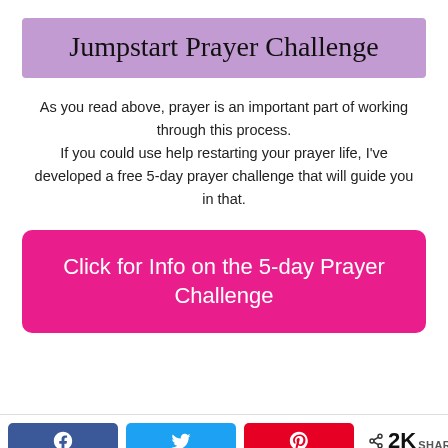Jumpstart Prayer Challenge
As you read above, prayer is an important part of working through this process. If you could use help restarting your prayer life, I've developed a free 5-day prayer challenge that will guide you in that.
Click for Info on the 5-day Prayer Challenge
< 2K SHARES